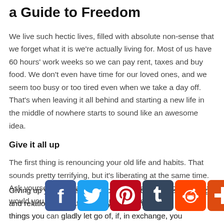a Guide to Freedom
We live such hectic lives, filled with absolute non-sense that we forget what it is we're actually living for. Most of us have 60 hours' work weeks so we can pay rent, taxes and buy food. We don't even have time for our loved ones, and we seem too busy or too tired even when we take a day off. That's when leaving it all behind and starting a new life in the middle of nowhere starts to sound like an awesome idea.
Give it all up
The first thing is renouncing your old life and habits. That sounds pretty terrifying, but it's liberating at the same time. Ask yourself this: if a tornado were to take you to Oz, what would you miss the most about your life now?
[Figure (infographic): Social media share buttons: Facebook, Twitter, Pinterest, Tumblr, Reddit, and AddThis (blue plus icon)]
Giving up your life is about holding onto the essential things and relationships. After that, you'll find there are plenty of things you can gladly let go of, if, in exchange, you